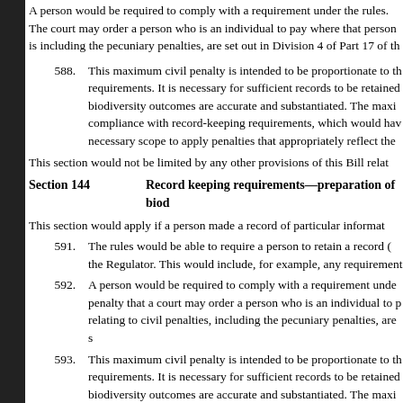A person would be required to comply with a requirement under the rules. The court may order a person who is an individual to pay where that person is liable including the pecuniary penalties, are set out in Division 4 of Part 17 of the Bill.
588. This maximum civil penalty is intended to be proportionate to the requirements. It is necessary for sufficient records to be retained so that biodiversity outcomes are accurate and substantiated. The maximum compliance with record-keeping requirements, which would have the necessary scope to apply penalties that appropriately reflect the...
This section would not be limited by any other provisions of this Bill relating...
Section 144    Record keeping requirements—preparation of biod...
This section would apply if a person made a record of particular information...
591. The rules would be able to require a person to retain a record (of) the Regulator. This would include, for example, any requirement...
592. A person would be required to comply with a requirement under a penalty that a court may order a person who is an individual to pay relating to civil penalties, including the pecuniary penalties, are set out...
593. This maximum civil penalty is intended to be proportionate to the requirements. It is necessary for sufficient records to be retained so biodiversity outcomes are accurate and substantiated. The maximum compliance with record-keeping requirements, which would have the necessary scope to apply penalties that appropriately reflect the...
Section 145    Record keeping requirements—protocol determina...
This section would apply if a person is the project proponent for a registered project and is subject to a record-keeping requirement relating to the project.
A person would be required to comply with the requirement, and would be liable to order a person who is an individual to pay where that person is liable to a penalty the pecuniary penalties, are set out in Division 4 of Part 17 of the Bill.